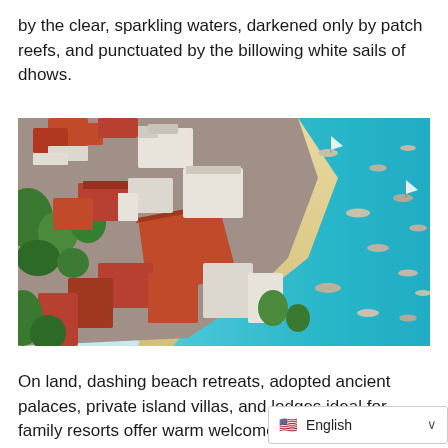by the clear, sparkling waters, darkened only by patch reefs, and punctuated by the billowing white sails of dhows.
[Figure (photo): Aerial photograph of a coastal town with white and red-roofed buildings on the left, dense tropical vegetation, a sandy beach in the center, and clear turquoise water with several boats and dhows on the right.]
On land, dashing beach retreats, adopted ancient palaces, private island villas, and lodges ideal for family resorts offer warm welcome
English